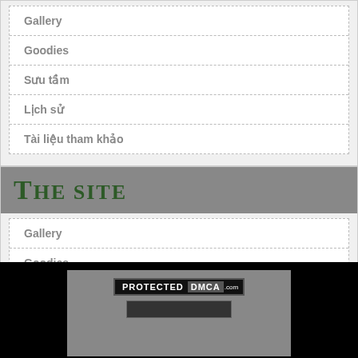Gallery
Goodies
Sưu tầm
Lịch sử
Tài liệu tham khảo
THE SITE
Gallery
Goodies
Sưu tầm
[Figure (logo): PROTECTED DMCA badge and a second badge below it on a dark gray background surrounded by black]